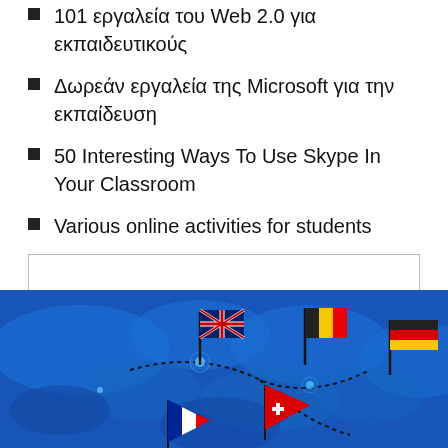101 εργαλεία του Web 2.0 για εκπαιδευτικούς
Δωρεάν εργαλεία της Microsoft για την εκπαίδευση
50 Interesting Ways To Use Skype In Your Classroom
Various online activities for students
[Figure (other): Empty white box with border, likely placeholder for embedded content]
[Figure (illustration): Blue stylized map with country flags (UK, Belgium, Germany, Switzerland, France) and dotted travel routes on a blue background]